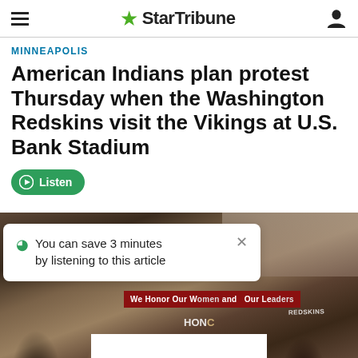StarTribune
MINNEAPOLIS
American Indians plan protest Thursday when the Washington Redskins visit the Vikings at U.S. Bank Stadium
[Figure (illustration): Green 'Listen' button with play icon]
[Figure (photo): Crowd of protesters, some holding a red banner reading 'We Honor Our Women and Our Leaders'. A tooltip overlay reads: 'You can save 3 minutes by listening to this article'. A white rectangular box appears at the bottom center of the photo.]